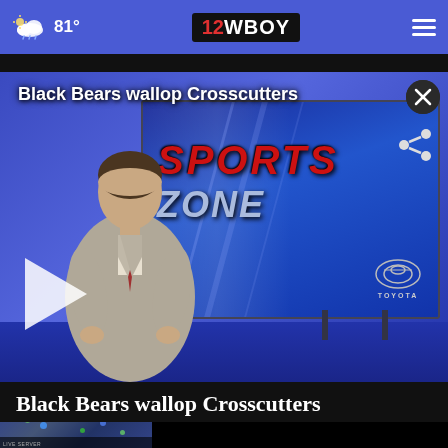81° | 12WBOY
[Figure (screenshot): Video player showing a news anchor in a studio with a Sports Zone Toyota graphic on a TV screen in the background. Text overlay reads 'Black Bears wallop Crosscutters'. A play button is visible on the lower left of the video.]
Black Bears wallop Crosscutters
[Figure (screenshot): Thumbnail of a weather map showing storm coverage]